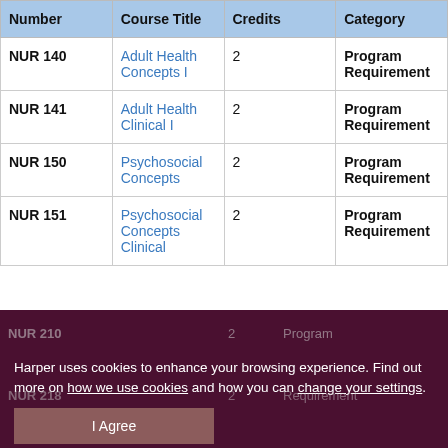| Number | Course Title | Credits | Category |
| --- | --- | --- | --- |
| NUR 140 | Adult Health Concepts I | 2 | Program Requirement |
| NUR 141 | Adult Health Clinical I | 2 | Program Requirement |
| NUR 150 | Psychosocial Concepts | 2 | Program Requirement |
| NUR 151 | Psychosocial Concepts Clinical | 2 | Program Requirement |
| NUR 210 | [partially visible] | 2 | Program [partially visible] |
| NUR 218 | [partially visible] | 2 | Program Requirement [partially visible] |
Harper uses cookies to enhance your browsing experience. Find out more on how we use cookies and how you can change your settings.